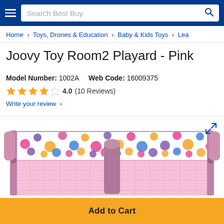Search Best Buy
Home > Toys, Drones & Education > Baby & Kids Toys > Lea
Joovy Toy Room2 Playard - Pink
Model Number: 1002A    Web Code: 16009375
4.0 (10 Reviews)
Write your review >
[Figure (photo): Pink Joovy Toy Room2 Playard product photo showing a pink playpen with colorful polka dot fabric border along the top]
Add to Cart